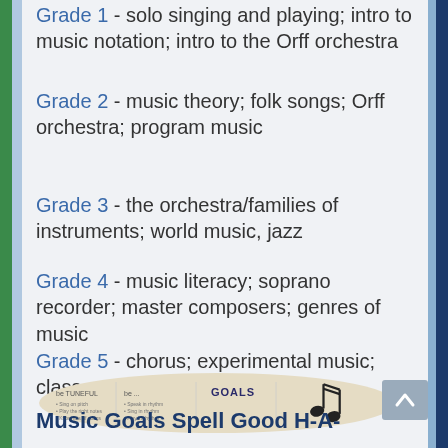Grade 1 - solo singing and playing; intro to music notation; intro to the Orff orchestra
Grade 2 - music theory; folk songs; Orff orchestra; program music
Grade 3 - the orchestra/families of instruments; world music, jazz
Grade 4 - music literacy; soprano recorder; master composers; genres of music
Grade 5 - chorus; experimental music; class performances (Showcase)
[Figure (photo): Photo of a goals chart/poster with musical note decoration, titled 'GOALS']
Music Goals Spell Good H-A-